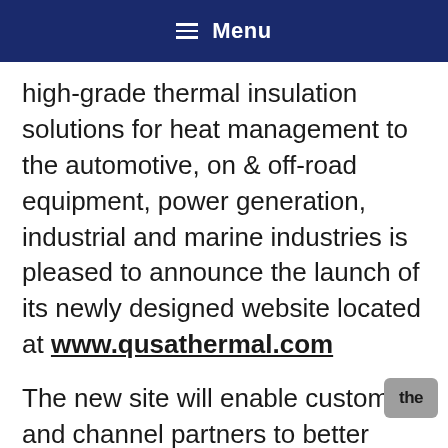Menu
high-grade thermal insulation solutions for heat management to the automotive, on & off-road equipment, power generation, industrial and marine industries is pleased to announce the launch of its newly designed website located at www.qusathermal.com
The new site will enable customer and channel partners to better understand what options are available to ensure the correct removable insulation technology